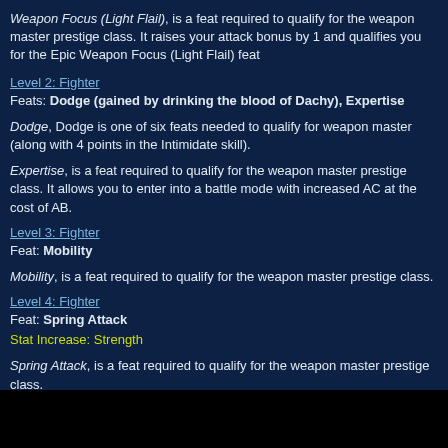Weapon Focus (Light Flail), is a feat required to qualify for the weapon master prestige class. It raises your attack bonus by 1 and qualifies you for the Epic Weapon Focus (Light Flail) feat
Level 2: Fighter
Feats: Dodge (gained by drinking the blood of Dachy), Expertise
Dodge, Dodge is one of six feats needed to qualify for weapon master (along with 4 points in the Intimidate skill).
Expertise, is a feat required to qualify for the weapon master prestige class. It allows you to enter into a battle mode with increased AC at the cost of AB.
Level 3: Fighter
Feat: Mobility
Mobility, is a feat required to qualify for the weapon master prestige class.
Level 4: Fighter
Feat: Spring Attack
Stat Increase: Strength
Spring Attack, is a feat required to qualify for the weapon master prestige class.